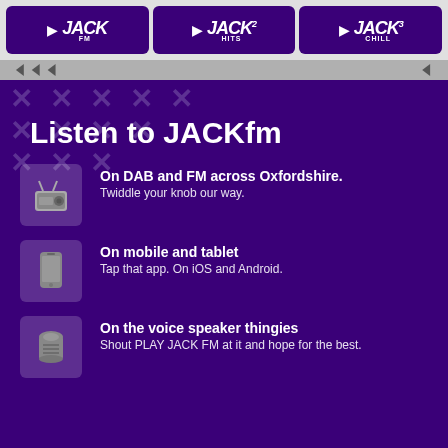[Figure (logo): Three JACK FM channel buttons: JACK FM, JACK 2 HITS, JACK 3 CHILL on dark purple background]
[Figure (other): Navigation strip with small arrow icons on grey background]
Listen to JACKfm
On DAB and FM across Oxfordshire. Twiddle your knob our way.
On mobile and tablet Tap that app. On iOS and Android.
On the voice speaker thingies Shout PLAY JACK FM at it and hope for the best.